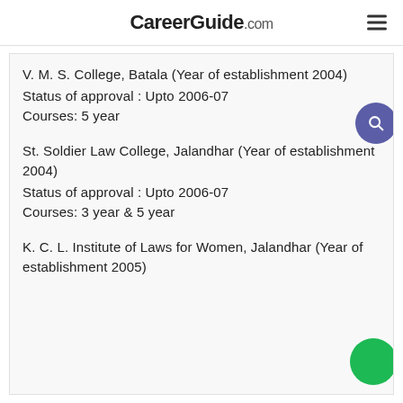CareerGuide.com
V. M. S. College, Batala (Year of establishment 2004)
Status of approval : Upto 2006-07
Courses: 5 year
St. Soldier Law College, Jalandhar (Year of establishment 2004)
Status of approval : Upto 2006-07
Courses: 3 year & 5 year
K. C. L. Institute of Laws for Women, Jalandhar (Year of establishment 2005)